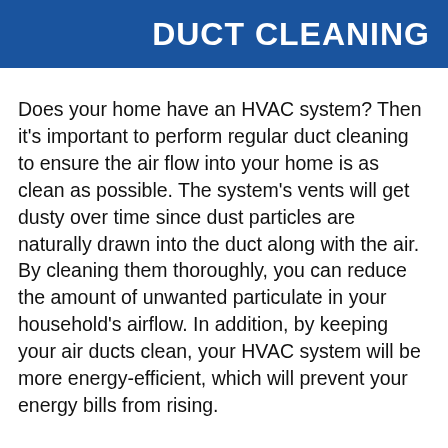DUCT CLEANING
Does your home have an HVAC system? Then it's important to perform regular duct cleaning to ensure the air flow into your home is as clean as possible. The system's vents will get dusty over time since dust particles are naturally drawn into the duct along with the air. By cleaning them thoroughly, you can reduce the amount of unwanted particulate in your household's airflow. In addition, by keeping your air ducts clean, your HVAC system will be more energy-efficient, which will prevent your energy bills from rising.
KEEP DUCTS CLEAN BETWEEN